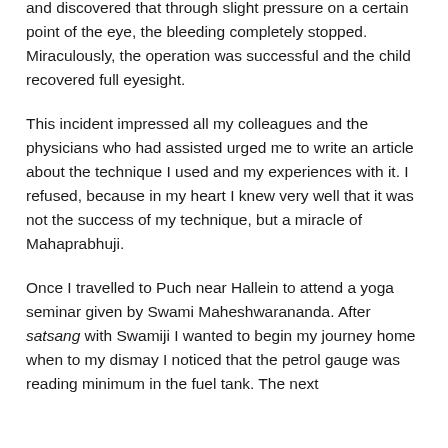and discovered that through slight pressure on a certain point of the eye, the bleeding completely stopped. Miraculously, the operation was successful and the child recovered full eyesight.
This incident impressed all my colleagues and the physicians who had assisted urged me to write an article about the technique I used and my experiences with it. I refused, because in my heart I knew very well that it was not the success of my technique, but a miracle of Mahaprabhuji.
Once I travelled to Puch near Hallein to attend a yoga seminar given by Swami Maheshwarananda. After satsang with Swamiji I wanted to begin my journey home when to my dismay I noticed that the petrol gauge was reading minimum in the fuel tank. The next